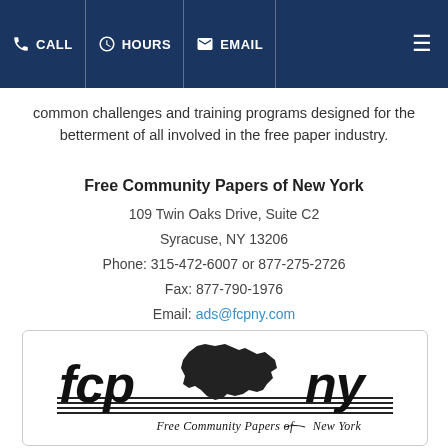CALL | HOURS | EMAIL
common challenges and training programs designed for the betterment of all involved in the free paper industry.
Free Community Papers of New York
109 Twin Oaks Drive, Suite C2
Syracuse, NY 13206
Phone: 315-472-6007 or 877-275-2726
Fax: 877-790-1976
Email: ads@fcpny.com
[Figure (logo): FCPNY logo — 'fcp ny' stylized text with outline of New York State map, tagline 'Free Community Papers of New York']